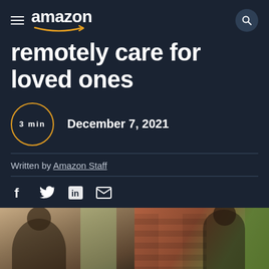amazon
remotely care for loved ones
3 min  December 7, 2021
Written by Amazon Staff
[Figure (photo): Two photos side by side: left shows an older man indoors near a window with greenery outside, right shows a woman outdoors near a brick wall]